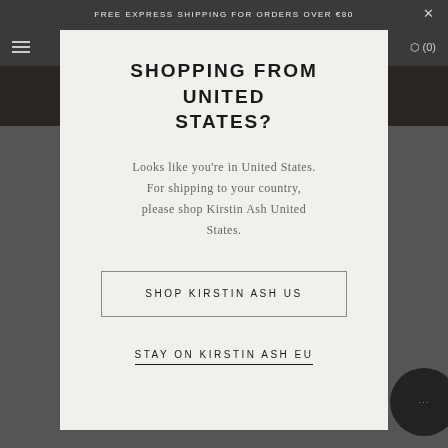FREE EXPRESS SHIPPING FOR ORDERS OVER €80
SHOPPING FROM UNITED STATES?
Looks like you're in United States. For shipping to your country, please shop Kirstin Ash United States.
SHOP KIRSTIN ASH US
STAY ON KIRSTIN ASH EU